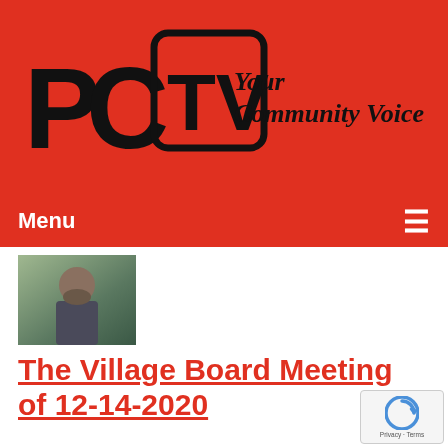[Figure (logo): PCTV logo with TV screen icon and tagline 'Your Community Voice' on red background]
Menu ≡
[Figure (photo): Thumbnail photo of a man with a beard outdoors]
The Village Board Meeting of 12-14-2020
Airdate: 12/14/2020
Watched: 3 times